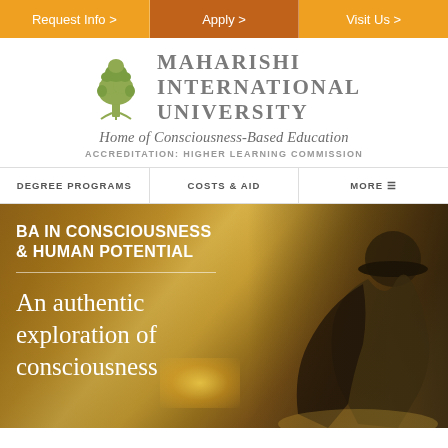Request Info > | Apply > | Visit Us >
[Figure (logo): Maharishi International University tree logo with text: MAHARISHI INTERNATIONAL UNIVERSITY — Home of Consciousness-Based Education — ACCREDITATION: HIGHER LEARNING COMMISSION]
DEGREE PROGRAMS | COSTS & AID | MORE
BA in CONSCIOUSNESS & HUMAN POTENTIAL
An authentic exploration of consciousness